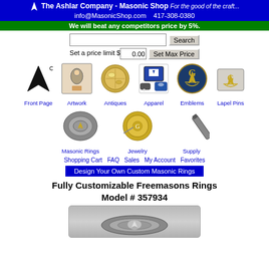The Ashlar Company - Masonic Shop   For the good of the craft...   info@MasonicShop.com   417-308-0380
We will beat any competitors price by 5%.
[Figure (screenshot): Search box with Search button and price limit input with Set Max Price button]
[Figure (infographic): Navigation icons row 1: Front Page, Artwork, Antiques, Apparel, Emblems, Lapel Pins]
[Figure (infographic): Navigation icons row 2: Masonic Rings, Jewelry, Supply]
Shopping Cart   FAQ   Sales   My Account   Favorites
Design Your Own Custom Masonic Rings
Fully Customizable Freemasons Rings Model # 357934
[Figure (photo): Photo of a Masonic ring close-up]